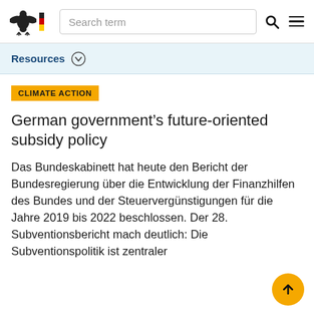Search term
Resources
CLIMATE ACTION
German government's future-oriented subsidy policy
Das Bundeskabinett hat heute den Bericht der Bundesregierung über die Entwicklung der Finanzhilfen des Bundes und der Steuervergünstigungen für die Jahre 2019 bis 2022 beschlossen. Der 28. Subventionsbericht mach deutlich: Die Subventionspolitik ist zentraler